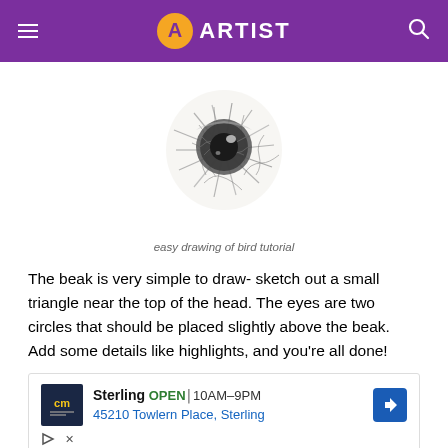ARTIST
[Figure (illustration): A detailed pencil sketch/drawing of a bird's eye, showing dark circular iris with radiating feather-like strokes around it, rendered in graphite on white background.]
easy drawing of bird tutorial
The beak is very simple to draw- sketch out a small triangle near the top of the head. The eyes are two circles that should be placed slightly above the beak. Add some details like highlights, and you're all done!
[Figure (screenshot): Advertisement banner showing: cm logo (yellow/white on dark background), Sterling OPEN 10AM–9PM, 45210 Towlern Place, Sterling, with a blue navigation arrow icon, play and close controls.]